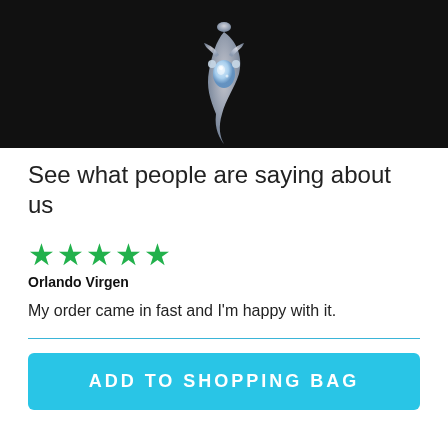[Figure (photo): A silver/crystal jewelry piece (seahorse or floral pendant) on a black background, partially cropped at top]
See what people are saying about us
★★★★★
Orlando Virgen
My order came in fast and I'm happy with it.
ADD TO SHOPPING BAG